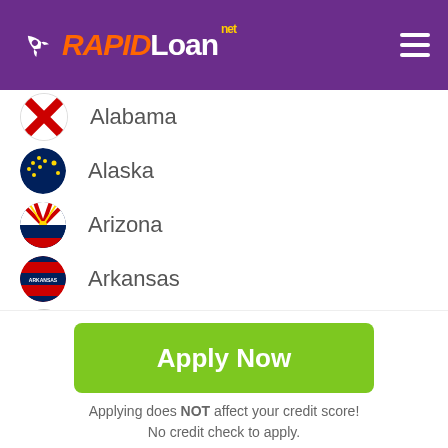RAPIDLoan.net
Alabama
Alaska
Arizona
Arkansas
California
Colorado
Connecticut
Apply Now
Applying does NOT affect your credit score!
No credit check to apply.